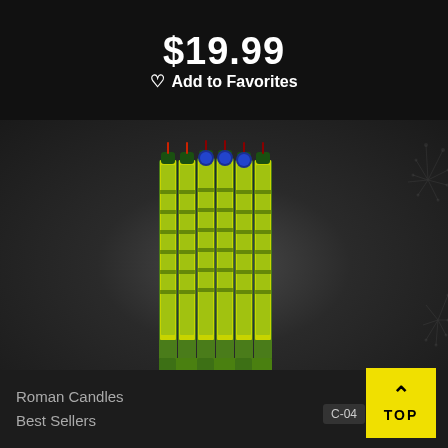$19.99
♡ Add to Favorites
[Figure (photo): Six Roman candle fireworks bundled together, green and yellow labeled tubes with colored tops, standing upright on a dark background with firework sparks visible on the right side]
Roman Candles
Best Sellers
C-04
TOP